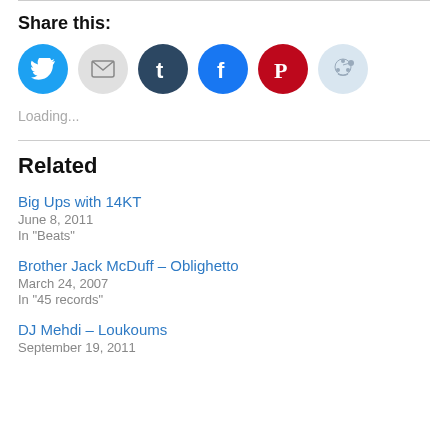Share this:
[Figure (infographic): Social share buttons: Twitter (blue), Email (gray), Tumblr (dark blue), Facebook (blue), Pinterest (red), Reddit (light blue)]
Loading...
Related
Big Ups with 14KT
June 8, 2011
In "Beats"
Brother Jack McDuff – Oblighetto
March 24, 2007
In "45 records"
DJ Mehdi – Loukoums
September 19, 2011